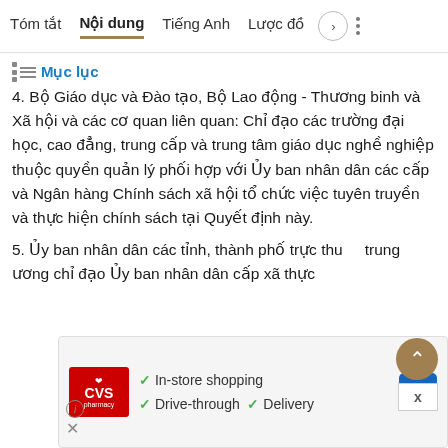Tóm tắt | Nội dung | Tiếng Anh | Lược đồ
Mục lục
4. Bộ Giáo dục và Đào tạo, Bộ Lao động - Thương binh và Xã hội và các cơ quan liên quan: Chỉ đạo các trường đại học, cao đẳng, trung cấp và trung tâm giáo dục nghề nghiệp thuộc quyền quản lý phối hợp với Ủy ban nhân dân các cấp và Ngân hàng Chính sách xã hội tổ chức việc tuyên truyền và thực hiện chính sách tại Quyết định này.
5. Ủy ban nhân dân các tỉnh, thành phố trực thuộc trung ương chỉ đạo Ủy ban nhân dân cấp xã thực
[Figure (screenshot): CVS Pharmacy advertisement banner showing In-store shopping, Drive-through, and Delivery services with checkmarks and a navigation arrow icon]